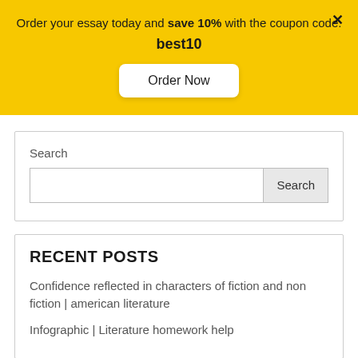Order your essay today and save 10% with the coupon code: best10
Order Now
Search
RECENT POSTS
Confidence reflected in characters of fiction and non fiction | american literature
Infographic | Literature homework help